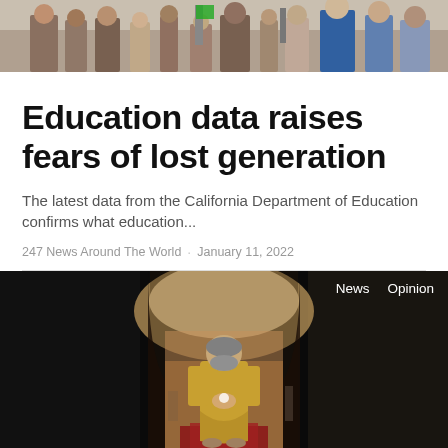[Figure (photo): Top cropped news photo showing people standing, partial view of crowd or group scene]
Education data raises fears of lost generation
The latest data from the California Department of Education confirms what education...
247 News Around The World · January 11, 2022
[Figure (photo): Photo of a person in golden traditional attire standing in an arched architectural doorway, with 'News' and 'Opinion' navigation labels visible in the top right]